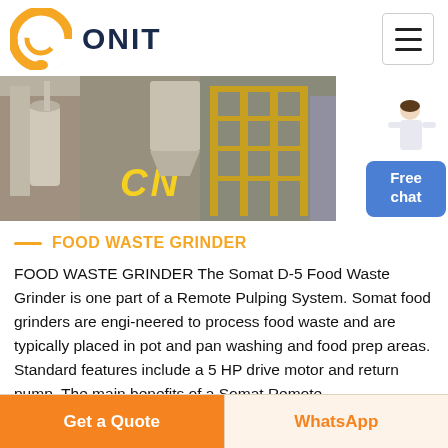[Figure (logo): ONIT logo with orange circular ring icon and dark blue bold text ONIT]
[Figure (photo): Industrial food waste grinder machine with yellow CN label, outdoor industrial facility with silos and scaffolding]
FOOD WASTE GRINDER
FOOD WASTE GRINDER The Somat D-5 Food Waste Grinder is one part of a Remote Pulping System. Somat food grinders are engi-neered to process food waste and are typically placed in pot and pan washing and food prep areas. Standard features include a 5 HP drive motor and return pump. The main benefits of a Somat Remote
Get a Quote
WhatsApp